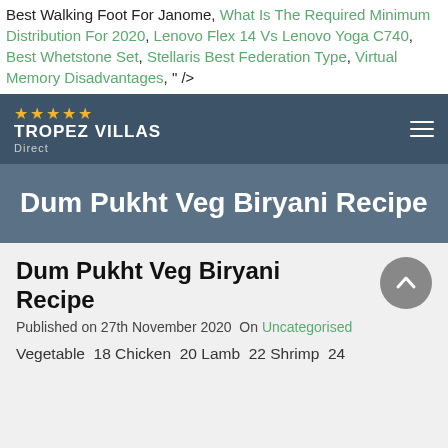Best Walking Foot For Janome, What Is The Required Minimum Distribution For 2020, Lenovo Flex 14 Vs Lenovo Yoga C740, Best Whetstone Set, Stellaris Best Federation Type, Virtual Memory Disadvantages, " />
[Figure (logo): Tropez Villas Direct logo with five gold stars and hamburger menu icon on dark blue-grey navigation bar]
Dum Pukht Veg Biryani Recipe
Dum Pukht Veg Biryani Recipe
Published on 27th November 2020  On  Uncategorised
Vegetable  18 Chicken  20 Lamb  22 Shrimp  24